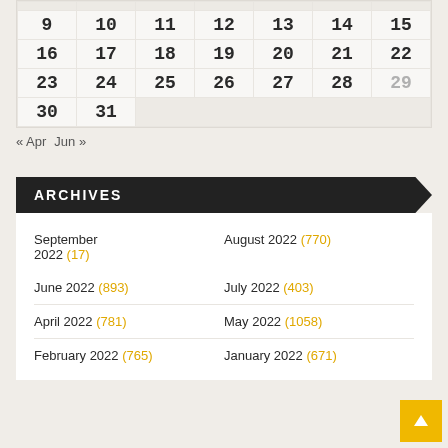| 9 | 10 | 11 | 12 | 13 | 14 | 15 |
| 16 | 17 | 18 | 19 | 20 | 21 | 22 |
| 23 | 24 | 25 | 26 | 27 | 28 | 29 |
| 30 | 31 |  |  |  |  |  |
« Apr   Jun »
ARCHIVES
September 2022 (17)
August 2022 (770)
June 2022 (893)
July 2022 (403)
April 2022 (781)
May 2022 (1058)
February 2022 (765)
March 2022 (577)
January 2022 (671)